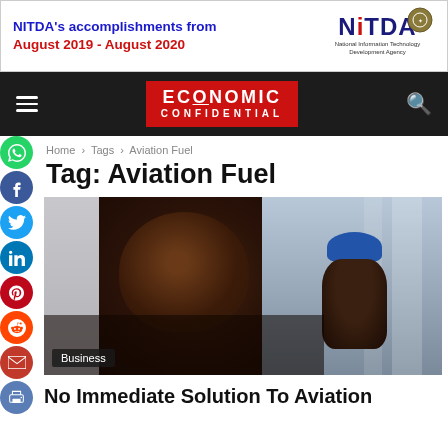[Figure (other): Advertisement banner: NITDA's accomplishments from August 2019 - August 2020 with NITDA logo (National Information Technology Development Agency)]
ECONOMIC CONFIDENTIAL navigation bar with hamburger menu and search icon
Home › Tags › Aviation Fuel
Tag: Aviation Fuel
[Figure (photo): Photo of a man speaking, with another person in a blue beret cap visible in the background. Category badge showing 'Business'.]
No Immediate Solution To Aviation